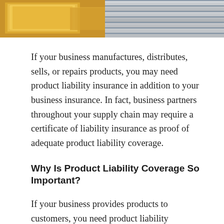[Figure (photo): Photo strip showing cardboard boxes on the left and metal pipes/rods on the right, representing manufactured products.]
If your business manufactures, distributes, sells, or repairs products, you may need product liability insurance in addition to your business insurance. In fact, business partners throughout your supply chain may require a certificate of liability insurance as proof of adequate product liability coverage.
Why Is Product Liability Coverage So Important?
If your business provides products to customers, you need product liability insurance because product liability lawsuits typically have high jury awards. This coverage can provide the protection your business needs in case a product causes injury